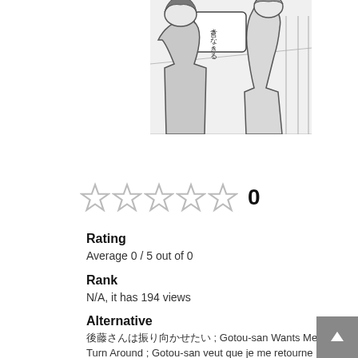[Figure (illustration): Manga panel illustration showing anime-style characters, black and white, with Japanese text in a speech bubble]
[Figure (other): Five empty star rating icons followed by the number 0]
Rating
Average 0 / 5 out of 0
Rank
N/A, it has 194 views
Alternative
後藤さんは振り向かせたい ; Gotou-san Wants Me to Turn Around ; Gotou-san veut que je me retourne ; 후토우씨는 돌아보게 하고 싶어
Author(s)
Mikipon
Artist(s)